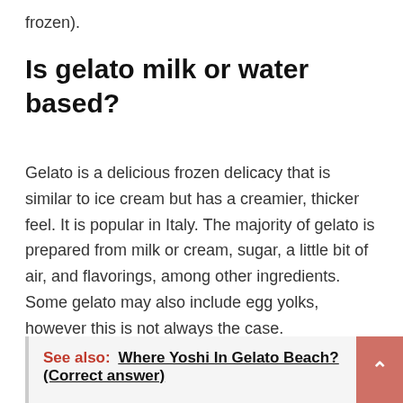frozen).
Is gelato milk or water based?
Gelato is a delicious frozen delicacy that is similar to ice cream but has a creamier, thicker feel. It is popular in Italy. The majority of gelato is prepared from milk or cream, sugar, a little bit of air, and flavorings, among other ingredients. Some gelato may also include egg yolks, however this is not always the case.
See also:  Where Yoshi In Gelato Beach? (Correct answer)